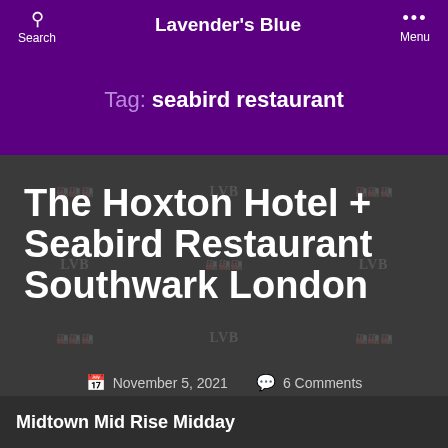Search | Lavender's Blue | Menu
Tag: seabird restaurant
The Hoxton Hotel + Seabird Restaurant Southwark London
November 5, 2021   6 Comments
Midtown Mid Rise Midday